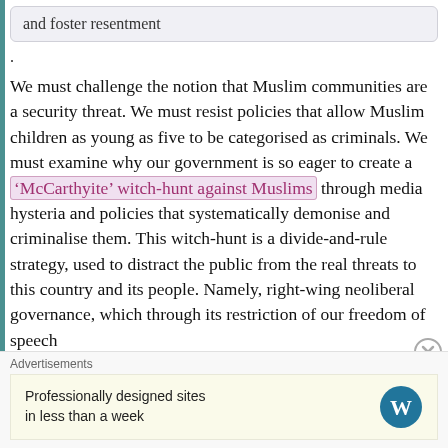and foster resentment
.
We must challenge the notion that Muslim communities are a security threat. We must resist policies that allow Muslim children as young as five to be categorised as criminals. We must examine why our government is so eager to create a ‘McCarthyite’ witch-hunt against Muslims through media hysteria and policies that systematically demonise and criminalise them. This witch-hunt is a divide-and-rule strategy, used to distract the public from the real threats to this country and its people. Namely, right-wing neoliberal governance, which through its restriction of our freedom of speech
Advertisements
Professionally designed sites in less than a week